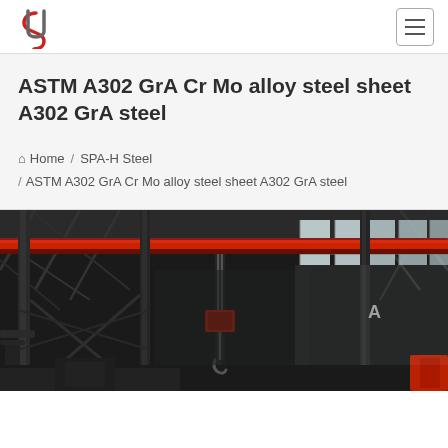Logo and navigation bar
ASTM A302 GrA Cr Mo alloy steel sheet A302 GrA steel
Home / SPA-H Steel / ASTM A302 GrA Cr Mo alloy steel sheet A302 GrA steel
[Figure (photo): Interior of an industrial steel warehouse/factory showing overhead crane with red beam, steel structural columns, corrugated metal roof with skylights, and industrial equipment. Letter 'A' visible on a column. Red crane hook mechanism visible.]